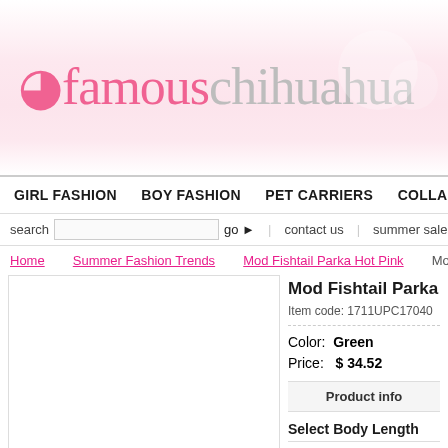[Figure (logo): Famous Chihuahua logo with pink and gray text on pink gradient background]
GIRL FASHION   BOY FASHION   PET CARRIERS   COLLARS & LEASHES
search  [input]  go  contact us  summer sale now on!  shop
Home > Summer Fashion Trends > Mod Fishtail Parka Hot Pink > Mod Fishtail Parka
Mod Fishtail Parka
Item code: 1711UPC17040
Color:  Green
Price:  $ 34.52
Product info
Select Body Length
Select Size...